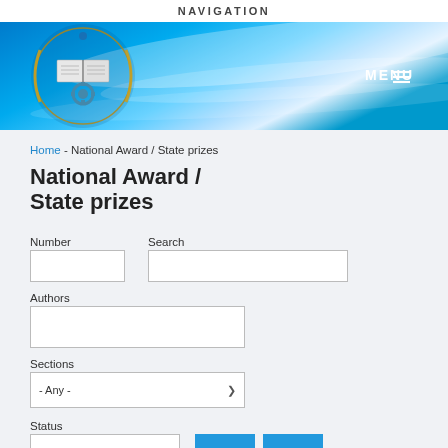NAVIGATION
[Figure (logo): Institutional logo: open book with wreath and gear, circular emblem on blue banner background]
MENU ≡
Home - National Award / State prizes
National Award / State prizes
Number
Search
Authors
Sections
- Any -
Status